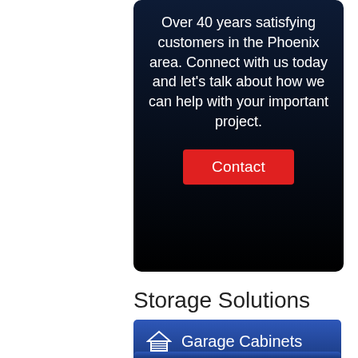Over 40 years satisfying customers in the Phoenix area. Connect with us today and let's talk about how we can help with your important project.
[Figure (other): Red 'Contact' button on dark background]
Storage Solutions
Garage Cabinets